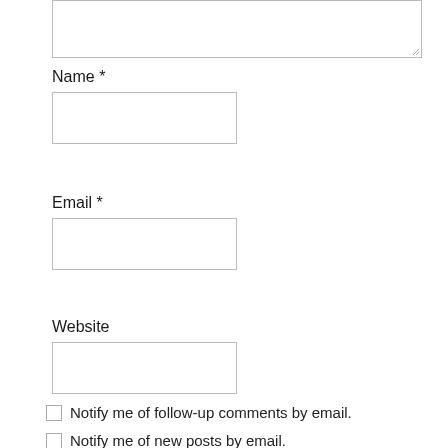[Figure (screenshot): Textarea form field with resize handle at bottom-right]
Name *
[Figure (screenshot): Name text input field, empty]
Email *
[Figure (screenshot): Email text input field, empty]
Website
[Figure (screenshot): Website text input field, empty]
Notify me of follow-up comments by email.
Notify me of new posts by email.